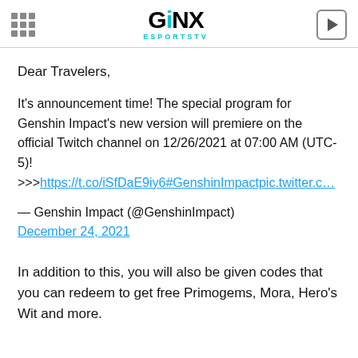GINX ESPORTSTV
Dear Travelers,
It's announcement time! The special program for Genshin Impact's new version will premiere on the official Twitch channel on 12/26/2021 at 07:00 AM (UTC-5)! >>>https://t.co/iSfDaE9iy6#GenshinImpactpic.twitter.c…
— Genshin Impact (@GenshinImpact)
December 24, 2021
In addition to this, you will also be given codes that you can redeem to get free Primogems, Mora, Hero's Wit and more.